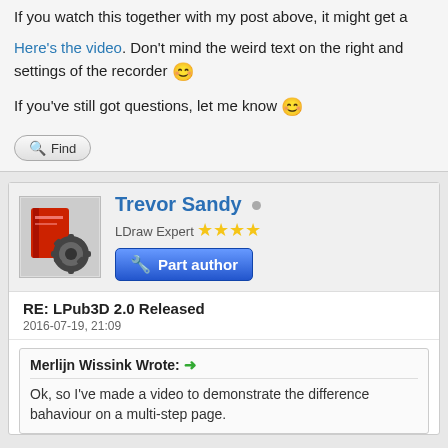If you watch this together with my post above, it might get a
Here's the video. Don't mind the weird text on the right and settings of the recorder 🙂
If you've still got questions, let me know 🙂
[Figure (screenshot): Find button with magnifier icon]
Trevor Sandy • LDraw Expert ★★★★ Part author
[Figure (photo): User avatar with red book and gear icon]
RE: LPub3D 2.0 Released
2016-07-19, 21:09
Merlijn Wissink Wrote: → Ok, so I've made a video to demonstrate the difference bahaviour on a multi-step page.